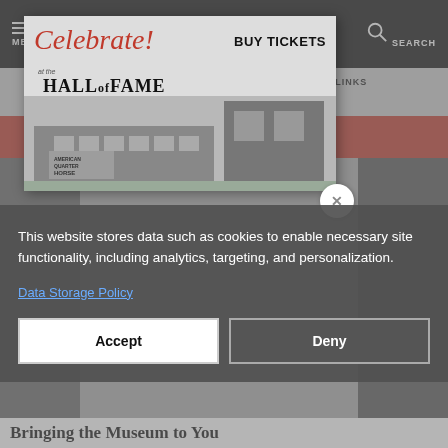MENU | AQHA AMERICAN QUARTER HORSE ASSOCIATION | SEARCH
SIGN IN | QUICK LINKS
[Figure (screenshot): AQHA Hall of Fame advertisement popup with 'Celebrate!' text and building photo, BUY TICKETS button]
This website stores data such as cookies to enable necessary site functionality, including analytics, targeting, and personalization.
Data Storage Policy
Accept   Deny
Bringing the Museum to You